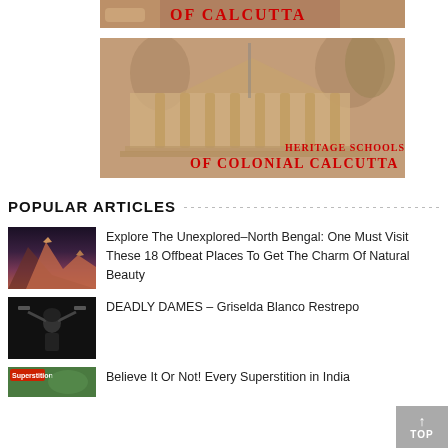[Figure (photo): Partial view of a banner or image showing text 'OF CALCUTTA' in red bold letters on a sepia/warm background — cropped at top of page]
[Figure (photo): Sepia-toned photograph of a colonial-era building with classical columns, overlaid with bold red text reading 'HERITAGE SCHOOLS OF COLONIAL CALCUTTA']
POPULAR ARTICLES
[Figure (photo): Thumbnail photo of a mountain peak illuminated in orange/red tones at sunset or sunrise]
Explore The Unexplored–North Bengal: One Must Visit These 18 Offbeat Places To Get The Charm Of Natural Beauty
[Figure (photo): Thumbnail black and white photo of a woman holding guns above her head]
DEADLY DAMES – Griselda Blanco Restrepo
[Figure (photo): Thumbnail photo with 'Superstition' label overlay in red]
Believe It Or Not! Every Superstition in India